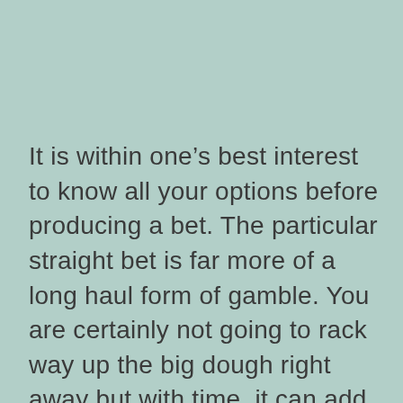It is within one’s best interest to know all your options before producing a bet. The particular straight bet is far more of a long haul form of gamble. You are certainly not going to rack way up the big dough right away but with time, it can add up. The particular parlay bet is far more of hope with regard to bigger payouts faster. They are more of a weekly gamble. The teaser bet can be used in several methods. You won’t help to make a ton on teasers for the reason that payouts are lower although they